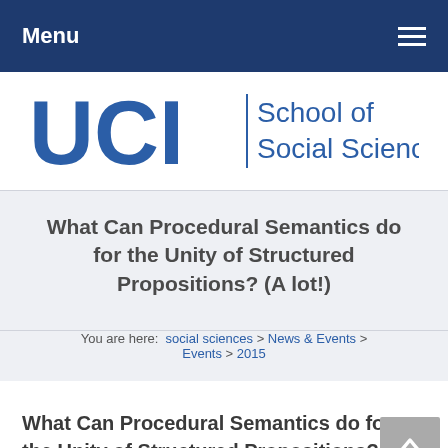Menu
[Figure (logo): UCI School of Social Sciences logo]
What Can Procedural Semantics do for the Unity of Structured Propositions? (A lot!)
You are here: social sciences > News & Events > Events > 2015
What Can Procedural Semantics do for the Unity of Structured Propositions? (A